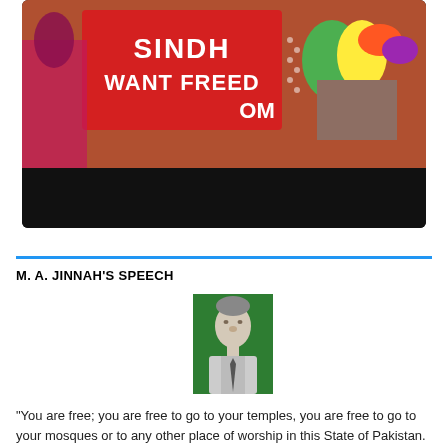[Figure (photo): A protest photo showing people holding a red banner reading 'SINDH WANT FREEDOM' with women in colorful traditional dress. Below the image is a black bar area suggesting a video player interface. The whole block has a dark rounded border.]
M. A. JINNAH'S SPEECH
[Figure (photo): A small portrait photo of M. A. Jinnah in black and white with a green background, showing him in formal attire.]
"You are free; you are free to go to your temples, you are free to go to your mosques or to any other place of worship in this State of Pakistan. You may belong to any religion or caste or creed – that has nothing to do with the business of the State." - Founder of Pakistan - M. A. Jinnah.
"Minorities to whichever community they may belong, will be